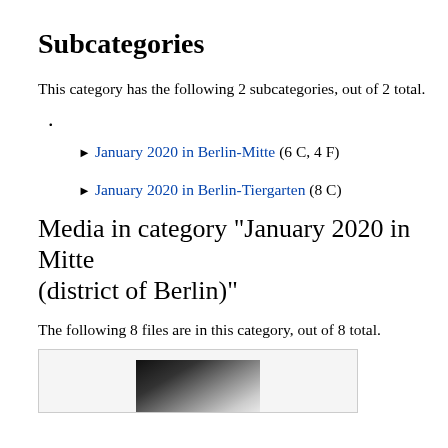Subcategories
This category has the following 2 subcategories, out of 2 total.
▶ January 2020 in Berlin-Mitte (6 C, 4 F)
▶ January 2020 in Berlin-Tiergarten (8 C)
Media in category "January 2020 in Mitte (district of Berlin)"
The following 8 files are in this category, out of 8 total.
[Figure (photo): Partial image visible at bottom of page, appears to be a dark photo, possibly a building or street scene in Berlin.]